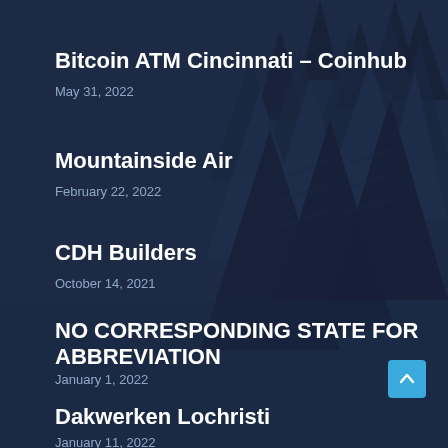Bitcoin ATM Cincinnati – Coinhub
May 31, 2022
Mountainside Air
February 22, 2022
CDH Builders
October 14, 2021
NO CORRESPONDING STATE FOR ABBREVIATION
January 1, 2022
Dakwerken Lochristi
January 11, 2022